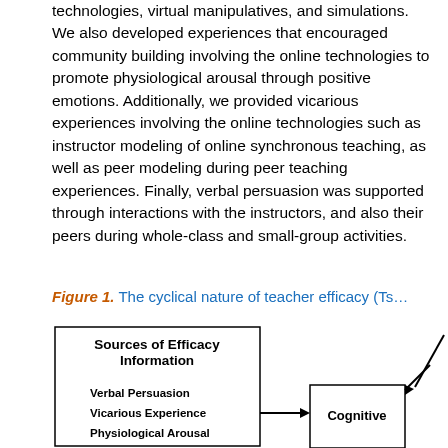technologies, virtual manipulatives, and simulations. We also developed experiences that encouraged community building involving the online technologies to promote physiological arousal through positive emotions. Additionally, we provided vicarious experiences involving the online technologies such as instructor modeling of online synchronous teaching, as well as peer modeling during peer teaching experiences. Finally, verbal persuasion was supported through interactions with the instructors, and also their peers during whole-class and small-group activities.
Figure 1. The cyclical nature of teacher efficacy (Tsc...
[Figure (flowchart): Partial view of a flowchart showing 'Sources of Efficacy Information' box on the left with items: Verbal Persuasion, Vicarious Experience, Physiological Arousal. An arrow points right to a 'Cognitive' box. Another arrow comes from the right side partially visible.]